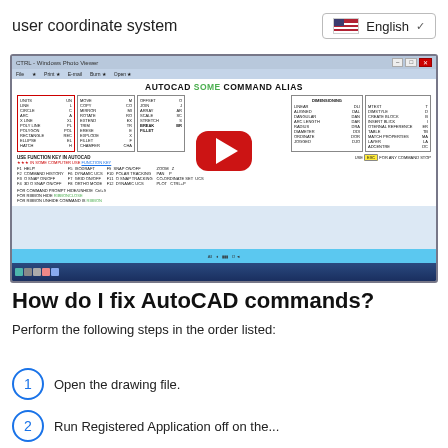user coordinate system
[Figure (screenshot): Screenshot of AutoCAD command alias reference showing function keys and command shortcuts in a Windows application window with YouTube play button overlay]
How do I fix AutoCAD commands?
Perform the following steps in the order listed:
1. Open the drawing file.
2. Run Registered Application off on the...